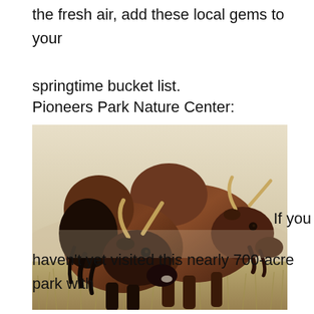the fresh air, add these local gems to your springtime bucket list.
Pioneers Park Nature Center:
[Figure (photo): Two bison standing in a misty prairie field, photographed in a vintage warm-toned style. The bison face slightly to the right, with horns visible and shaggy brown fur.]
If you haven't yet visited this nearly 700-acre park with everything ranging from prairie landscapes to wetlands to woodlands—don't wait another